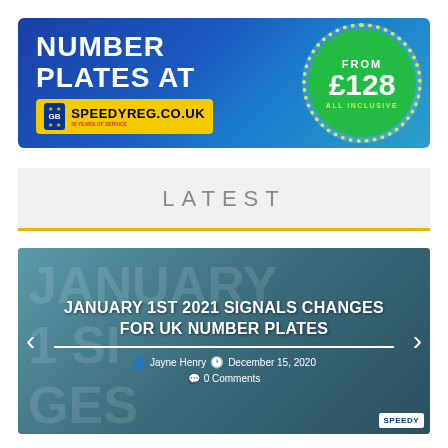[Figure (infographic): Advertisement banner for SpeedyReg.co.uk showing 'NUMBER PLATES AT' text on blue background, a yellow number plate graphic with SPEEDYREG.CO.UK text, and a green circle showing FROM £128 ALL INCLUSIVE]
LATEST
[Figure (infographic): Article card with teal/dark blue background showing article titled 'JANUARY 1ST 2021 SIGNALS CHANGES FOR UK NUMBER PLATES' by Jayne Henry, dated December 15, 2020, with 0 Comments. Has left and right navigation arrows and SpeedyReg badge.]